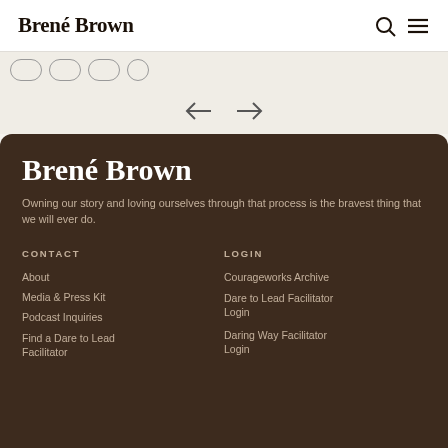Brené Brown
[Figure (other): Navigation tabs partially visible at top]
[Figure (other): Left arrow and right arrow navigation buttons]
Brené Brown
Owning our story and loving ourselves through that process is the bravest thing that we will ever do.
CONTACT
LOGIN
About
Media & Press Kit
Podcast Inquiries
Find a Dare to Lead Facilitator
Courageworks Archive
Dare to Lead Facilitator Login
Daring Way Facilitator Login